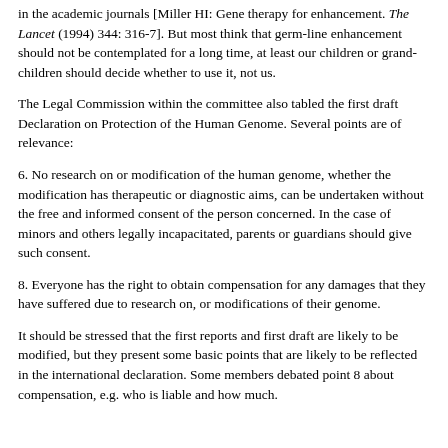in the academic journals [Miller HI: Gene therapy for enhancement. The Lancet (1994) 344: 316-7]. But most think that germ-line enhancement should not be contemplated for a long time, at least our children or grand-children should decide whether to use it, not us.
The Legal Commission within the committee also tabled the first draft Declaration on Protection of the Human Genome. Several points are of relevance:
6. No research on or modification of the human genome, whether the modification has therapeutic or diagnostic aims, can be undertaken without the free and informed consent of the person concerned. In the case of minors and others legally incapacitated, parents or guardians should give such consent.
8. Everyone has the right to obtain compensation for any damages that they have suffered due to research on, or modifications of their genome.
It should be stressed that the first reports and first draft are likely to be modified, but they present some basic points that are likely to be reflected in the international declaration. Some members debated point 8 about compensation, e.g. who is liable and how much.